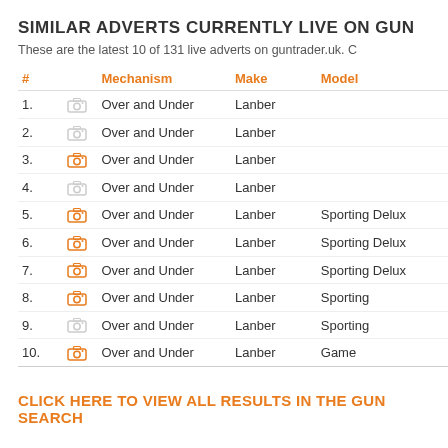SIMILAR ADVERTS CURRENTLY LIVE ON GUN
These are the latest 10 of 131 live adverts on guntrader.uk. C
| # |  | Mechanism | Make | Model |
| --- | --- | --- | --- | --- |
| 1. |  | Over and Under | Lanber |  |
| 2. |  | Over and Under | Lanber |  |
| 3. |  | Over and Under | Lanber |  |
| 4. |  | Over and Under | Lanber |  |
| 5. |  | Over and Under | Lanber | Sporting Delux |
| 6. |  | Over and Under | Lanber | Sporting Delux |
| 7. |  | Over and Under | Lanber | Sporting Delux |
| 8. |  | Over and Under | Lanber | Sporting |
| 9. |  | Over and Under | Lanber | Sporting |
| 10. |  | Over and Under | Lanber | Game |
CLICK HERE TO VIEW ALL RESULTS IN THE GUN SEARCH